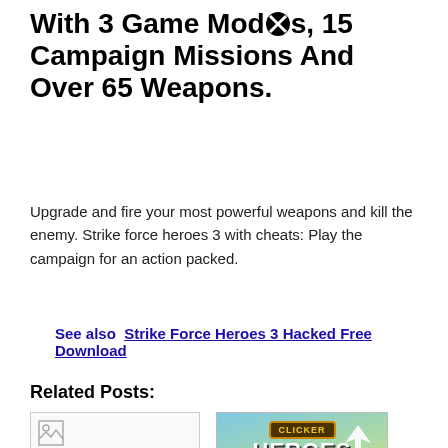With 3 Game Modes, 15 Campaign Missions And Over 65 Weapons.
Upgrade and fire your most powerful weapons and kill the enemy. Strike force heroes 3 with cheats: Play the campaign for an action packed.
See also  Strike Force Heroes 3 Hacked Free Download
Related Posts:
[Figure (photo): Broken image placeholder (left)]
[Figure (photo): Clicker Heroes II game banner with colorful characters, title logo and close button]